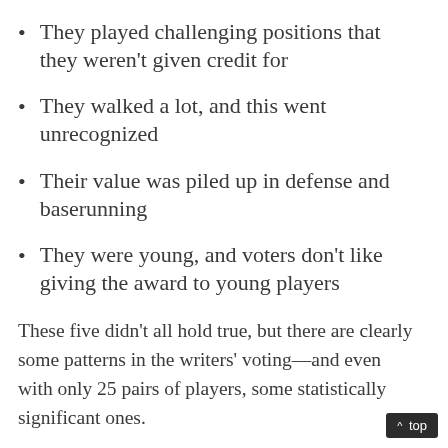They played challenging positions that they weren't given credit for
They walked a lot, and this went unrecognized
Their value was piled up in defense and baserunning
They were young, and voters don't like giving the award to young players
These five didn't all hold true, but there are clearly some patterns in the writers' voting—and even with only 25 pairs of players, some statistically significant ones.